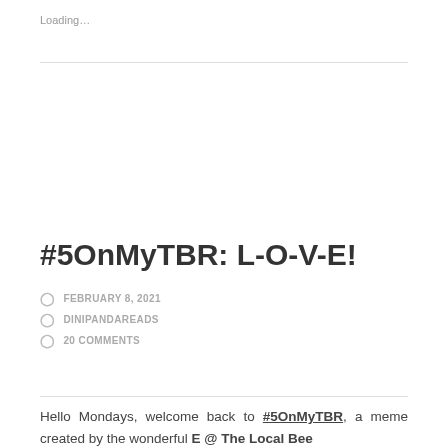Loading…
#5OnMyTBR: L-O-V-E!
FEBRUARY 8, 2021
DINIPANDAREADS
20 COMMENTS
Hello Mondays, welcome back to #5OnMyTBR, a meme created by the wonderful E @ The Local Bee